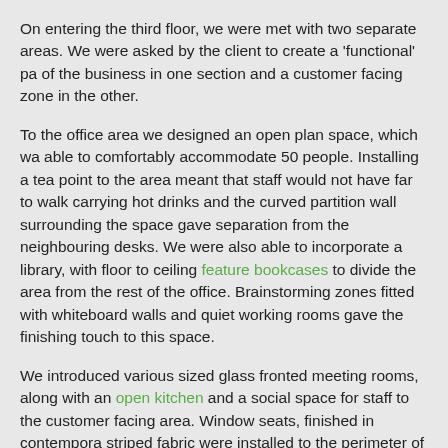On entering the third floor, we were met with two separate areas. We were asked by the client to create a 'functional' pa of the business in one section and a customer facing zone in the other.
To the office area we designed an open plan space, which wa able to comfortably accommodate 50 people. Installing a tea point to the area meant that staff would not have far to walk carrying hot drinks and the curved partition wall surrounding the space gave separation from the neighbouring desks. We were also able to incorporate a library, with floor to ceiling feature bookcases to divide the area from the rest of the office. Brainstorming zones fitted with whiteboard walls and quiet working rooms gave the finishing touch to this space.
We introduced various sized glass fronted meeting rooms, along with an open kitchen and a social space for staff to the customer facing area. Window seats, finished in contempora striped fabric were installed to the perimeter of the room. Th style of seating adds to the ambience of the space and allows staff to take advantage of the fabulous city skyline. Graphic